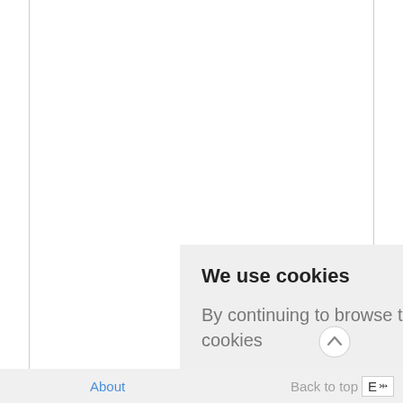[Figure (screenshot): Cookie consent banner with light grey background. Contains bold title 'We use cookies', body text 'By continuing to browse this site you are agreeing to our use of cookies', and a green 'Ok' button.]
About    Back to top    E ▾